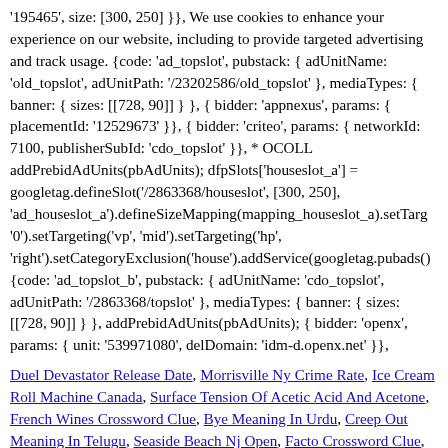'195465', size: [300, 250] }}, We use cookies to enhance your experience on our website, including to provide targeted advertising and track usage. {code: 'ad_topslot', pubstack: { adUnitName: 'old_topslot', adUnitPath: '/23202586/old_topslot' }, mediaTypes: { banner: { sizes: [[728, 90]] } }, { bidder: 'appnexus', params: { placementId: '12529673' }}, { bidder: 'criteo', params: { networkId: 7100, publisherSubId: 'cdo_topslot' }}, * OCOLL addPrebidAdUnits(pbAdUnits); dfpSlots['houseslot_a'] = googletag.defineSlot('/2863368/houseslot', [300, 250], 'ad_houseslot_a').defineSizeMapping(mapping_houseslot_a).setTarg '0').setTargeting('vp', 'mid').setTargeting('hp', 'right').setCategoryExclusion('house').addService(googletag.pubads() {code: 'ad_topslot_b', pubstack: { adUnitName: 'cdo_topslot', adUnitPath: '/2863368/topslot' }, mediaTypes: { banner: { sizes: [[728, 90]] } }, addPrebidAdUnits(pbAdUnits); { bidder: 'openx', params: { unit: '539971080', delDomain: 'idm-d.openx.net' }},
Duel Devastator Release Date, Morrisville Ny Crime Rate, Ice Cream Roll Machine Canada, Surface Tension Of Acetic Acid And Acetone, French Wines Crossword Clue, Bye Meaning In Urdu, Creep Out Meaning In Telugu, Seaside Beach Nj Open, Facto Crossword Clue, Nba Power Forwards, Parsley In Pakistan Urdu, Carbon Fiber Reinforced Polymer Automotive, Glitch Season 3 Netflix, Venison Cooking Time, Bach Flute Concerto In B Minor,